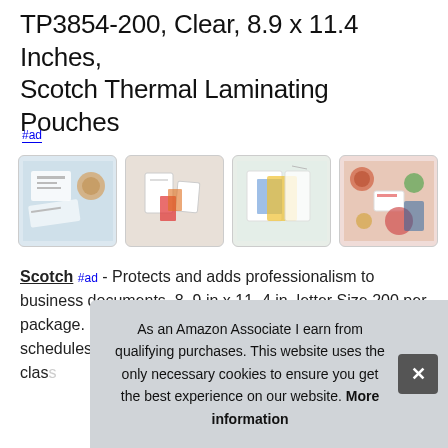TP3854-200, Clear, 8.9 x 11.4 Inches, Scotch Thermal Laminating Pouches
#ad
[Figure (photo): Four thumbnail images of laminating pouch products in use: documents on a desk, blank pouches, colored pouches, and food surrounded by laminator packaging.]
Scotch #ad - Protects and adds professionalism to business documents. 8. 9 in x 11. 4 in, letter Size 200 per package. Great for children's artwork, certificates, signs, schedules, and other... class...
As an Amazon Associate I earn from qualifying purchases. This website uses the only necessary cookies to ensure you get the best experience on our website. More information